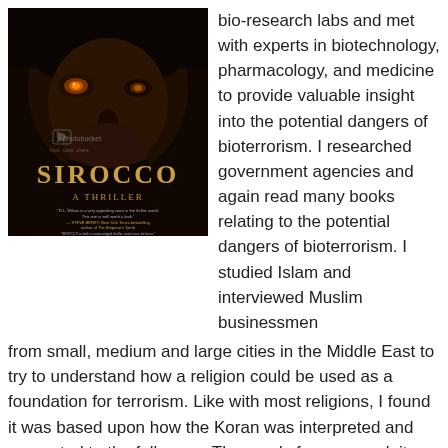[Figure (illustration): Book cover for 'Sirocco: A Thriller' showing a close-up of a woman's face with glowing amber eyes on a dark background, with blurbs from Steve Berry and James Rollins. Photobucket watermark visible.]
bio-research labs and met with experts in biotechnology, pharmacology, and medicine to provide valuable insight into the potential dangers of bioterrorism. I researched government agencies and again read many books relating to the potential dangers of bioterrorism. I studied Islam and interviewed Muslim businessmen from small, medium and large cities in the Middle East to try to understand how a religion could be used as a foundation for terrorism. Like with most religions, I found it was based upon how the Koran was interpreted and presented to the followers. The words from any pulpit can be distorted to meet the speaker's objectives.
To keep the thrill alive, I had to start with a bang. Brett Reynolds, an attorney representing the pharmaceutical lobby, is summoned